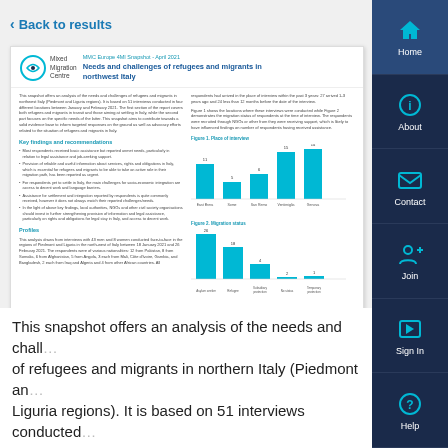< Back to results
[Figure (screenshot): Preview of MMC Europe 4MI Snapshot April 2021 document: Needs and challenges of refugees and migrants in northwest Italy. Shows document with two-column layout, key findings, bar charts for Place of interview and Migration status.]
This snapshot offers an analysis of the needs and challenges of refugees and migrants in northern Italy (Piedmont and Liguria regions). It is based on 51 interviews conducted in...
[Figure (organizational-chart): Navigation sidebar with Home, About, Contact, Join, Sign In, Help icons]